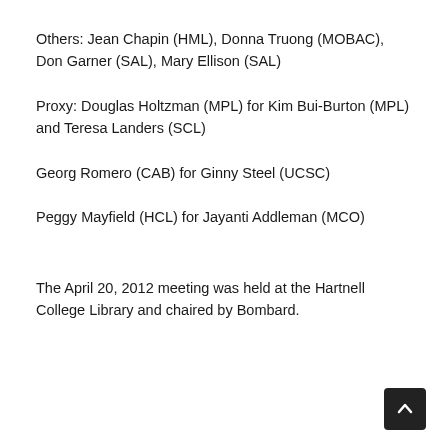Others: Jean Chapin (HML), Donna Truong (MOBAC), Don Garner (SAL), Mary Ellison (SAL)
Proxy: Douglas Holtzman (MPL) for Kim Bui-Burton (MPL) and Teresa Landers (SCL)
Georg Romero (CAB) for Ginny Steel (UCSC)
Peggy Mayfield (HCL) for Jayanti Addleman (MCO)
The April 20, 2012 meeting was held at the Hartnell College Library and chaired by Bombard.